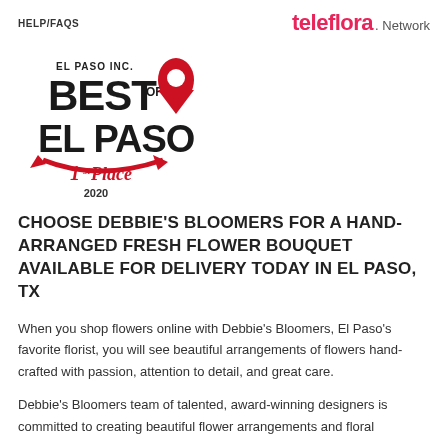HELP/FAQS
[Figure (logo): Teleflora Network logo with pink teleflora text and grey Network text]
[Figure (logo): El Paso Inc. Best of El Paso 1st Place 2020 award badge with red location pin graphic]
CHOOSE DEBBIE'S BLOOMERS FOR A HAND-ARRANGED FRESH FLOWER BOUQUET AVAILABLE FOR DELIVERY TODAY IN EL PASO, TX
When you shop flowers online with Debbie's Bloomers, El Paso's favorite florist, you will see beautiful arrangements of flowers hand-crafted with passion, attention to detail, and great care.
Debbie's Bloomers team of talented, award-winning designers is committed to creating beautiful flower arrangements and floral